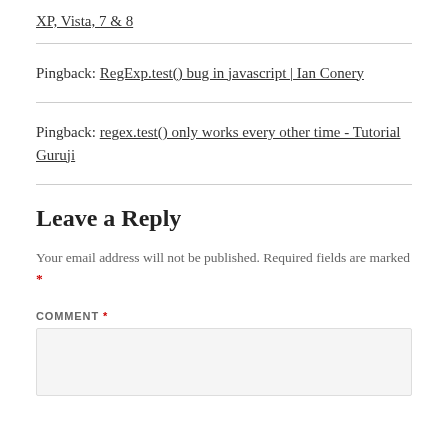XP, Vista, 7 & 8
Pingback: RegExp.test() bug in javascript | Ian Conery
Pingback: regex.test() only works every other time - Tutorial Guruji
Leave a Reply
Your email address will not be published. Required fields are marked *
COMMENT *